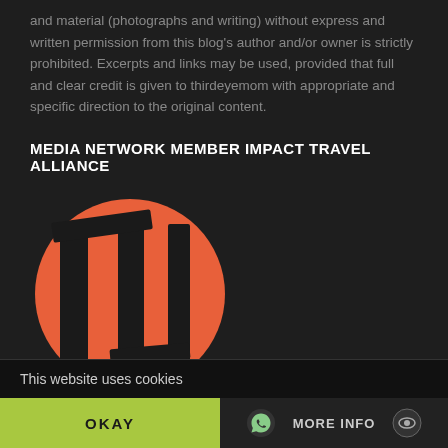and material (photographs and writing) without express and written permission from this blog's author and/or owner is strictly prohibited. Excerpts and links may be used, provided that full and clear credit is given to thirdeyemom with appropriate and specific direction to the original content.
MEDIA NETWORK MEMBER IMPACT TRAVEL ALLIANCE
[Figure (logo): Impact Travel Alliance logo — orange circle with stylized open book/door graphic in dark brown/black lines]
This website uses cookies
OKAY
MORE INFO